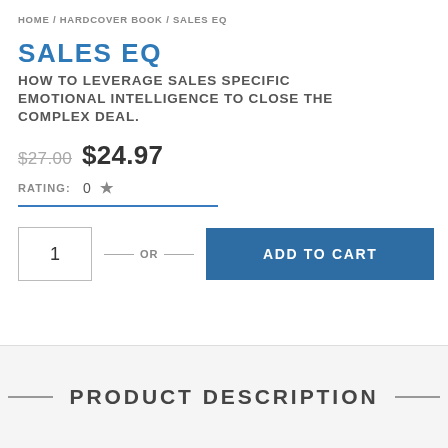HOME / HARDCOVER BOOK / SALES EQ
SALES EQ
HOW TO LEVERAGE SALES SPECIFIC EMOTIONAL INTELLIGENCE TO CLOSE THE COMPLEX DEAL.
$27.00 $24.97
RATING: 0 ★
1 — OR — ADD TO CART
PRODUCT DESCRIPTION